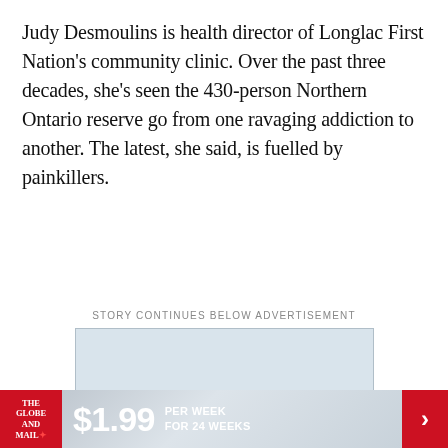Judy Desmoulins is health director of Longlac First Nation's community clinic. Over the past three decades, she's seen the 430-person Northern Ontario reserve go from one ravaging addiction to another. The latest, she said, is fuelled by painkillers.
STORY CONTINUES BELOW ADVERTISEMENT
[Figure (other): Advertisement placeholder box with light blue-grey background]
[Figure (other): The Globe and Mail subscription banner: $1.99 per week for 24 weeks]